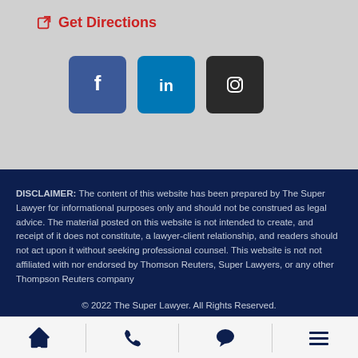Get Directions
[Figure (other): Social media icons: Facebook, LinkedIn, Instagram]
DISCLAIMER: The content of this website has been prepared by The Super Lawyer for informational purposes only and should not be construed as legal advice. The material posted on this website is not intended to create, and receipt of it does not constitute, a lawyer-client relationship, and readers should not act upon it without seeking professional counsel. This website is not not affiliated with nor endorsed by Thomson Reuters, Super Lawyers, or any other Thompson Reuters company
© 2022 The Super Lawyer. All Rights Reserved.
[Figure (other): Navigation bar with home, phone, chat, and menu icons]